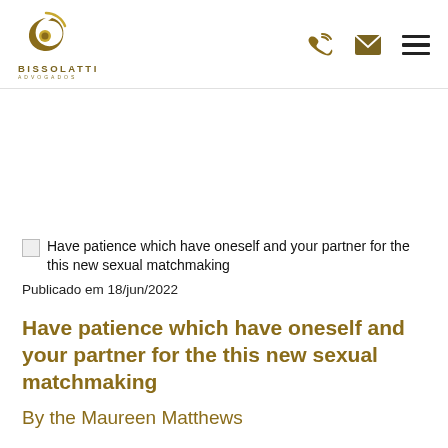[Figure (logo): Bissolatti Advogados logo — golden swirl/flame emblem above text BISSOLATTI ADVOGADOS]
[Figure (other): Navigation icons: phone, envelope/mail, hamburger menu]
Have patience which have oneself and your partner for the this new sexual matchmaking
Publicado em 18/jun/2022
Have patience which have oneself and your partner for the this new sexual matchmaking
By the Maureen Matthews